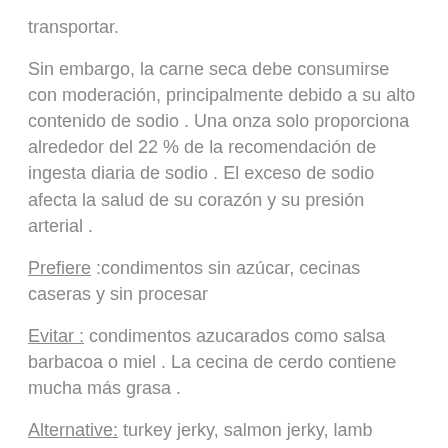transportar.
Sin embargo, la carne seca debe consumirse con moderación, principalmente debido a su alto contenido de sodio . Una onza solo proporciona alrededor del 22 % de la recomendación de ingesta diaria de sodio . El exceso de sodio afecta la salud de su corazón y su presión arterial .
Prefiere :condimentos sin azúcar, cecinas caseras y sin procesar
Evitar : condimentos azucarados como salsa barbacoa o miel . La cecina de cerdo contiene mucha más grasa .
Alternative: turkey jerky, salmon jerky, lamb jerky...